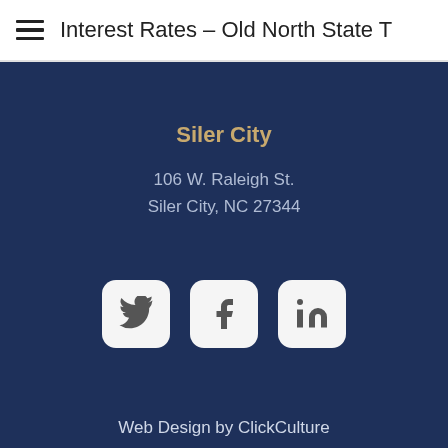Interest Rates – Old North State T
Siler City
106 W. Raleigh St.
Siler City, NC 27344
[Figure (other): Social media icons: Twitter, Facebook, LinkedIn]
Web Design by ClickCulture